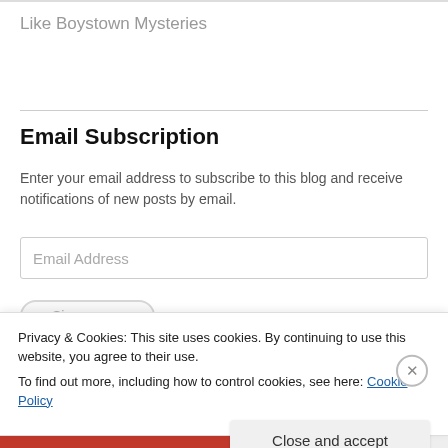Like Boystown Mysteries
Email Subscription
Enter your email address to subscribe to this blog and receive notifications of new posts by email.
Email Address
Privacy & Cookies: This site uses cookies. By continuing to use this website, you agree to their use.
To find out more, including how to control cookies, see here: Cookie Policy
Close and accept